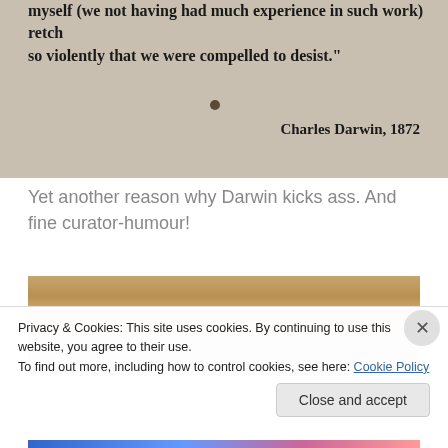[Figure (photo): Photo of a museum or book display showing text: 'myself (we not having had much experience in such work) retch so violently that we were compelled to desist.' attributed to Charles Darwin, 1872, with a small dark dot/button visible]
Yet another reason why Darwin kicks ass. And fine curator-humour!
[Figure (photo): Partial photo showing a wooden shelf or frame above what appears to be a document or illustration]
Privacy & Cookies: This site uses cookies. By continuing to use this website, you agree to their use.
To find out more, including how to control cookies, see here: Cookie Policy